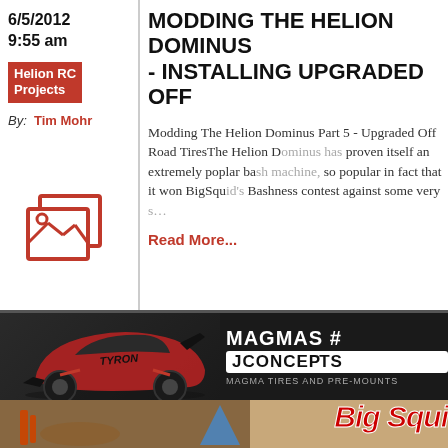6/5/2012 9:55 am
Helion RC Projects
By: Tim Mohr
MODDING THE HELION DOMINUS - INSTALLING UPGRADED OFF ROAD TIRES
Modding The Helion Dominus Part 5 - Upgraded Off Road TiresThe Helion Dominus has proven itself an extremely poplar bash machine, so popular in fact that it won BigSquid's Bashness contest against some very s
Read More...
[Figure (photo): JConcepts advertisement banner showing a red/black RC buggy (ARRMA Typhon style) on dark background with text MAGMAS # JCONCEPTS and MAGMA TIRES AND PRE-MOUNTS]
[Figure (photo): BigSquid RC advertisement banner showing RC car parts with Big Squid logo in red italic text on tan/brown background]